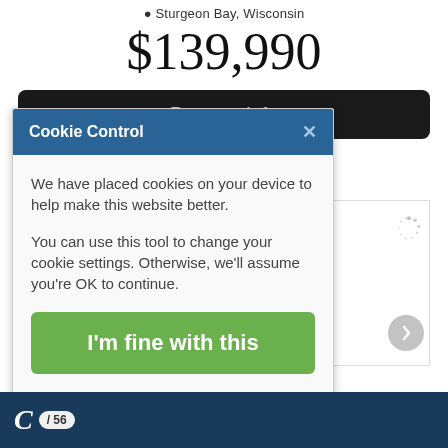📍 Sturgeon Bay, Wisconsin
$139,990
Request Info
Cookie Control
We have placed cookies on your device to help make this website better.

You can use this tool to change your cookie settings. Otherwise, we'll assume you're OK to continue.
I'm fine with this
Information and Settings
About our cookies
C / 56